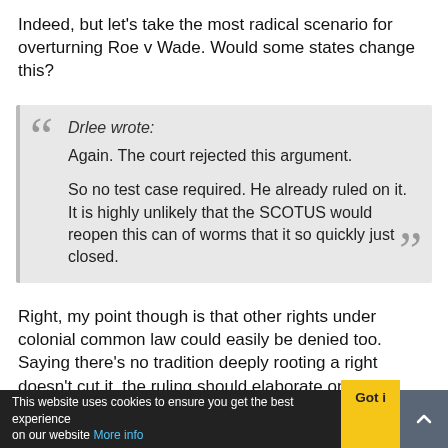Indeed, but let's take the most radical scenario for overturning Roe v Wade. Would some states change this?
Drlee wrote:
Again. The court rejected this argument.

So no test case required. He already ruled on it. It is highly unlikely that the SCOTUS would reopen this can of worms that it so quickly just closed.
Right, my point though is that other rights under colonial common law could easily be denied too. Saying there's no tradition deeply rooting a right doesn't cut it, the ruling should elaborate on why doesn't common law constitute an example of a source of what's "deeply rooted in the nation's history and tradition". Isn't this a cornerstone of this country's legal system after all?
This website uses cookies to ensure you get the best experience on our website More info